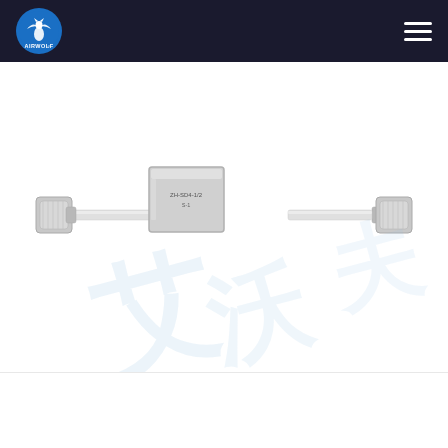AIRWOLF header navigation bar
[Figure (photo): Industrial stainless steel pneumatic fitting or connector with threaded ends and a rectangular block in the center, photographed on white background with a faint Chinese watermark overlay (AIRWOLF brand watermark)]
[Figure (logo): AIRWOLF logo - blue circle with white winged wolf graphic and AIRWOLF text below]
[Figure (photo): 100% premium quality red seal/badge emblem]
Chat Online